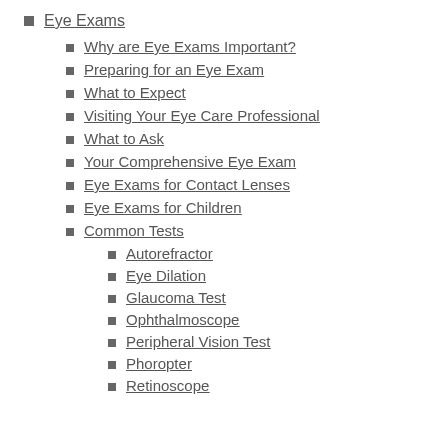Eye Exams
Why are Eye Exams Important?
Preparing for an Eye Exam
What to Expect
Visiting Your Eye Care Professional
What to Ask
Your Comprehensive Eye Exam
Eye Exams for Contact Lenses
Eye Exams for Children
Common Tests
Autorefractor
Eye Dilation
Glaucoma Test
Ophthalmoscope
Peripheral Vision Test
Phoropter
Retinoscope